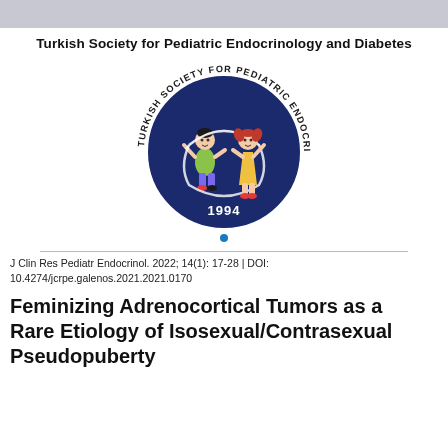Turkish Society for Pediatric Endocrinology and Diabetes
[Figure (logo): Circular logo of the Turkish Society for Pediatric Endocrinology and Diabetes. Dark navy blue circle with white circular band containing text 'TURKISH SOCIETY FOR PEDIATRIC ENDOCRINOLOGY AND DIABETES'. Center shows two cartoon children (a boy in green and a girl in yellow) with a rope/hoop. Year '1994' displayed at bottom inside the circle. A small blue dot appears below the circle.]
J Clin Res Pediatr Endocrinol. 2022; 14(1): 17-28 | DOI:
10.4274/jcrpe.galenos.2021.2021.0170
Feminizing Adrenocortical Tumors as a Rare Etiology of Isosexual/Contrasexual Pseudopuberty